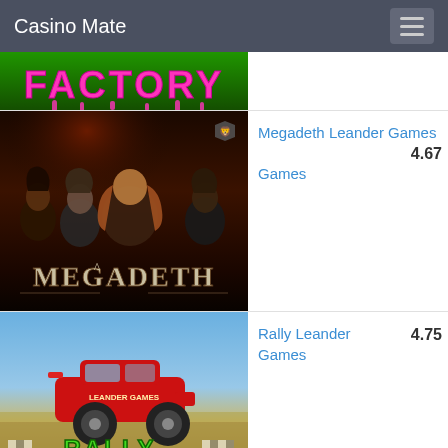Casino Mate
[Figure (screenshot): Partial game thumbnail for a 'Factory' themed slot game with pink dripping text on green background]
[Figure (screenshot): Megadeth slot game thumbnail showing the band members with dark moody background and MEGADETH logo]
Megadeth Leander Games  4.67
[Figure (screenshot): Rally Argentina-Chile slot game thumbnail showing a red rally car in desert landscape with RALLY logo]
Rally Leander Games  4.75
[Figure (screenshot): Partial thumbnail for Golden Rome game]
Golden Rome Leander  5